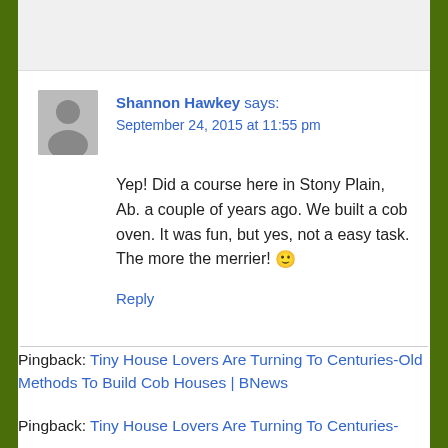[Figure (other): Gray top bar/header area]
Shannon Hawkey says:
September 24, 2015 at 11:55 pm
Yep! Did a course here in Stony Plain, Ab. a couple of years ago. We built a cob oven. It was fun, but yes, not a easy task. The more the merrier! 🙂
Reply
Pingback: Tiny House Lovers Are Turning To Centuries-Old Methods To Build Cob Houses | BNews
Pingback: Tiny House Lovers Are Turning To Centuries-